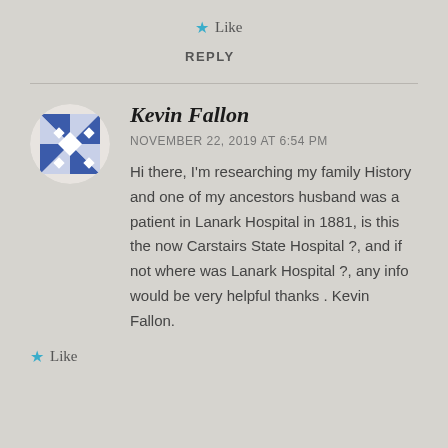★ Like
REPLY
Kevin Fallon
NOVEMBER 22, 2019 AT 6:54 PM
Hi there, I'm researching my family History and one of my ancestors husband was a patient in Lanark Hospital in 1881, is this the now Carstairs State Hospital ?, and if not where was Lanark Hospital ?, any info would be very helpful thanks . Kevin Fallon.
★ Like